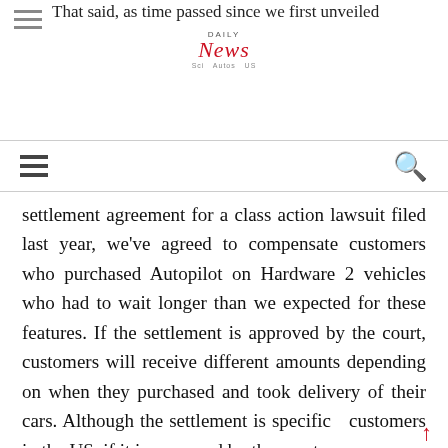[Figure (logo): Daily News logo with red italic 'News' wordmark and small tagline]
That said, as time passed since we first unveiled
[Figure (other): Navigation bar with hamburger menu icon on left and red search icon on right]
settlement agreement for a class action lawsuit filed last year, we've agreed to compensate customers who purchased Autopilot on Hardware 2 vehicles who had to wait longer than we expected for these features. If the settlement is approved by the court, customers will receive different amounts depending on when they purchased and took delivery of their cars. Although the settlement is specific customers in the US, if it is approved by the court